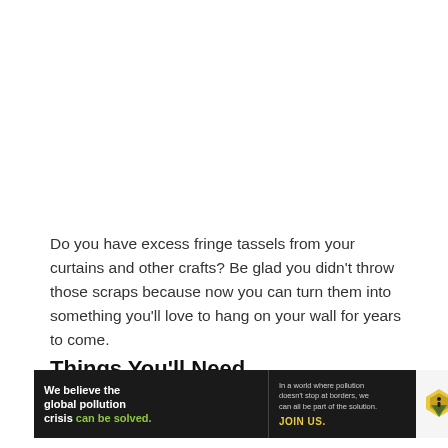Do you have excess fringe tassels from your curtains and other crafts? Be glad you didn't throw those scraps because now you can turn them into something you'll love to hang on your wall for years to come.
Things You'll Need
[Figure (infographic): Pure Earth advertisement banner with black background on left showing 'We believe the global pollution crisis can be solved.' in white and green text, middle section with small text about pollution not stopping at borders and JOIN US. in yellow, and Pure Earth logo with diamond icon on right white background.]